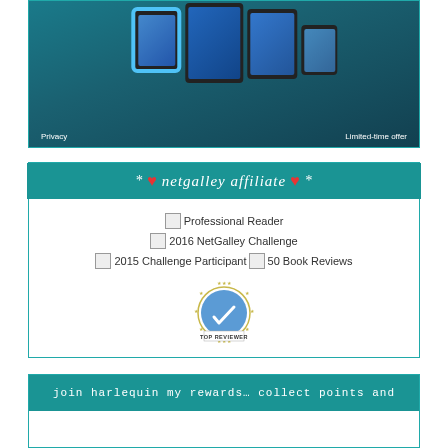[Figure (photo): Amazon Fire tablets advertisement showing multiple tablet devices on teal background with 'Privacy' and 'Limited-time offer' text]
[Figure (infographic): NetGalley affiliate banner with teal header, broken badge images for Professional Reader, 2016 NetGalley Challenge, 2015 Challenge Participant, 50 Book Reviews, and Top Reviewer badge]
* ♥ netgalley affiliate ♥*
Professional Reader
2016 NetGalley Challenge
2015 Challenge Participant
50 Book Reviews
TOP REVIEWER
join harlequin my rewards… collect points and